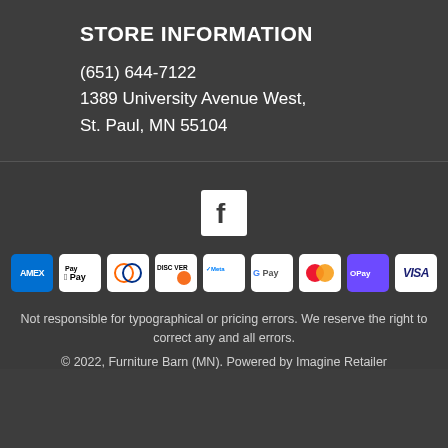STORE INFORMATION
(651) 644-7122
1389 University Avenue West,
St. Paul, MN 55104
[Figure (logo): Facebook logo icon - white 'f' on white square background]
[Figure (infographic): Payment method logos: American Express, Apple Pay, Diners Club, Discover, Meta Pay, Google Pay, Mastercard, Samsung Pay (OPay), Visa]
Not responsible for typographical or pricing errors. We reserve the right to correct any and all errors.
© 2022, Furniture Barn (MN). Powered by Imagine Retailer